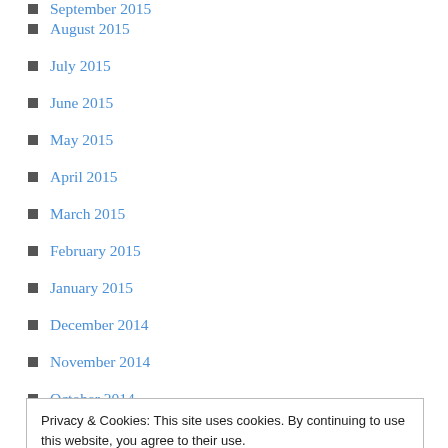August 2015
July 2015
June 2015
May 2015
April 2015
March 2015
February 2015
January 2015
December 2014
November 2014
October 2014
September 2014
August 2014
July 2014
June 2014
May 2014
April 2014
Privacy & Cookies: This site uses cookies. By continuing to use this website, you agree to their use. To find out more, including how to control cookies, see here: Cookie Policy
August 2013